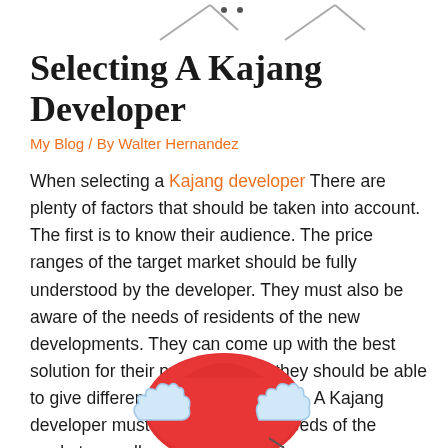[Figure (illustration): Partial decorative image at top of page showing arrows or chevron design]
Selecting A Kajang Developer
My Blog / By Walter Hernandez
When selecting a Kajang developer There are plenty of factors that should be taken into account. The first is to know their audience. The price ranges of the target market should be fully understood by the developer. They must also be aware of the needs of residents of the new developments. They can come up with the best solution for their problem. Also, they should be able to give different choices for housing. A Kajang developer must be aware of the needs of the market as well as its requirements.
[Figure (illustration): Decorative illustration at bottom of page showing a red dome/hat with blue cloud-like decorations around it]